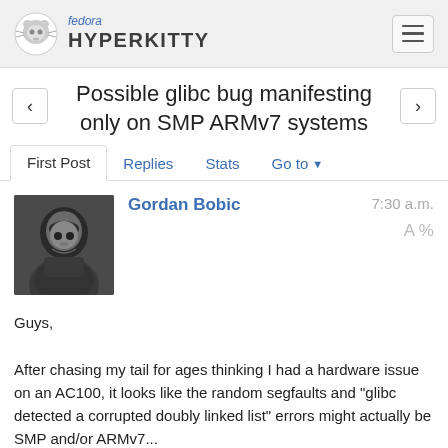Fedora HYPERKITTY
Possible glibc bug manifesting only on SMP ARMv7 systems
First Post  Replies  Stats  Go to
Gordan Bobic  7:30 a.m.
[Figure (photo): Black and white portrait photo of Gordan Bobic]
Guys,

After chasing my tail for ages thinking I had a hardware issue on an AC100, it looks like the random segfaults and "glibc detected a corrupted doubly linked list" errors might actually be SMP and/or ARMv7...